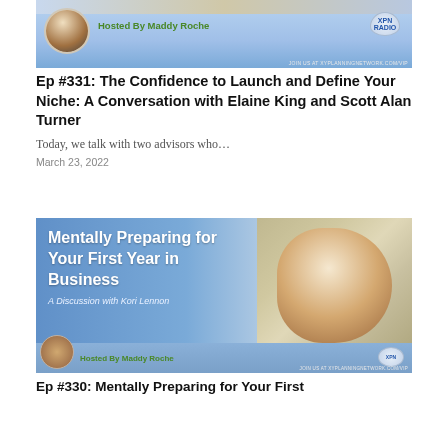[Figure (illustration): Podcast episode banner for XY Planning Network Radio hosted by Maddy Roche, with host photo, green logo text, XPN Radio badge, and JOIN US AT XYPLANNINGNETWORK.COM/VIP footer strip]
Ep #331: The Confidence to Launch and Define Your Niche: A Conversation with Elaine King and Scott Alan Turner
Today, we talk with two advisors who…
March 23, 2022
[Figure (illustration): Podcast episode banner titled 'Mentally Preparing for Your First Year in Business – A Discussion with Kori Lennon', hosted by Maddy Roche, featuring photo of smiling woman with glasses, blue gradient background, XPN Radio badge, JOIN US AT XYPLANNINGNETWORK.COM/VIP footer]
Ep #330: Mentally Preparing for Your First…